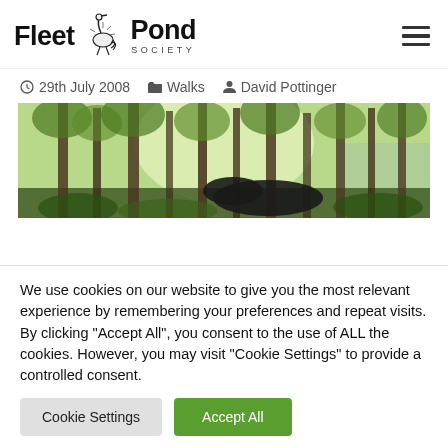Fleet Pond Society
29th July 2008  Walks  David Pottinger
[Figure (photo): A forest scene with tall thin trees and green foliage, with what appears to be a dark-coloured animal (possibly a dog or pig) in the foreground, and water visible in the background.]
We use cookies on our website to give you the most relevant experience by remembering your preferences and repeat visits. By clicking "Accept All", you consent to the use of ALL the cookies. However, you may visit "Cookie Settings" to provide a controlled consent.